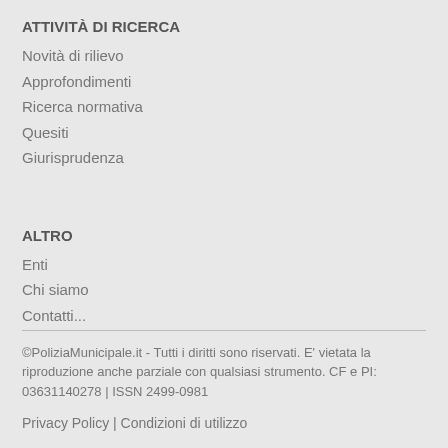ATTIVITÀ DI RICERCA
Novità di rilievo
Approfondimenti
Ricerca normativa
Quesiti
Giurisprudenza
ALTRO
Enti
Chi siamo
Contatti...
©PoliziaMunicipale.it - Tutti i diritti sono riservati. E' vietata la riproduzione anche parziale con qualsiasi strumento. CF e PI: 03631140278 | ISSN 2499-0981
Privacy Policy | Condizioni di utilizzo